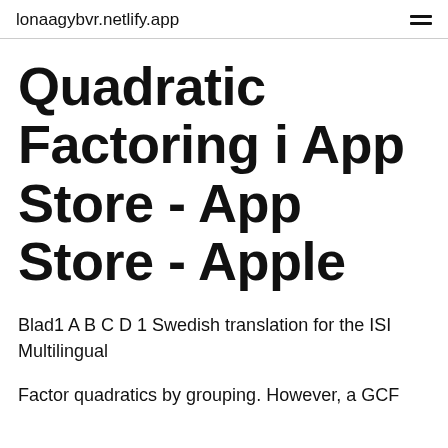lonaagybvr.netlify.app
Quadratic Factoring i App Store - App Store - Apple
Blad1 A B C D 1 Swedish translation for the ISI Multilingual
Factor quadratics by grouping. However, a GCF